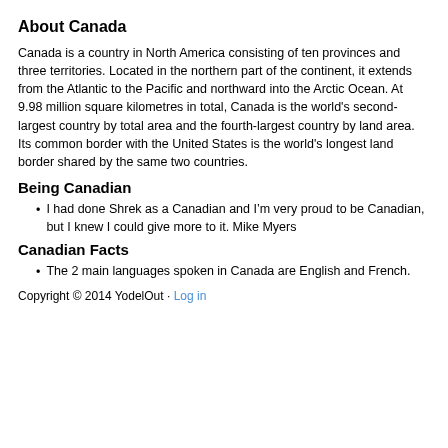About Canada
Canada is a country in North America consisting of ten provinces and three territories. Located in the northern part of the continent, it extends from the Atlantic to the Pacific and northward into the Arctic Ocean. At 9.98 million square kilometres in total, Canada is the world's second-largest country by total area and the fourth-largest country by land area. Its common border with the United States is the world's longest land border shared by the same two countries.
Being Canadian
I had done Shrek as a Canadian and I’m very proud to be Canadian, but I knew I could give more to it. Mike Myers
Canadian Facts
The 2 main languages spoken in Canada are English and French.
Copyright © 2014 YodelOut · Log in